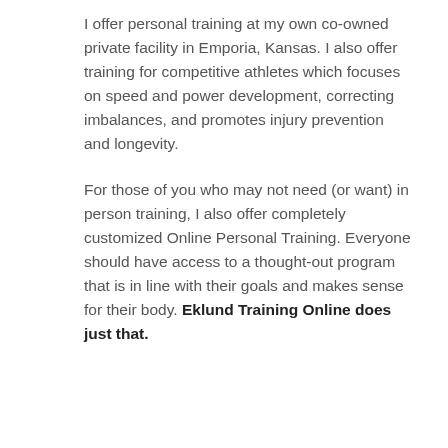I offer personal training at my own co-owned private facility in Emporia, Kansas. I also offer training for competitive athletes which focuses on speed and power development, correcting imbalances, and promotes injury prevention and longevity.
For those of you who may not need (or want) in person training, I also offer completely customized Online Personal Training. Everyone should have access to a thought-out program that is in line with their goals and makes sense for their body. Eklund Training Online does just that.